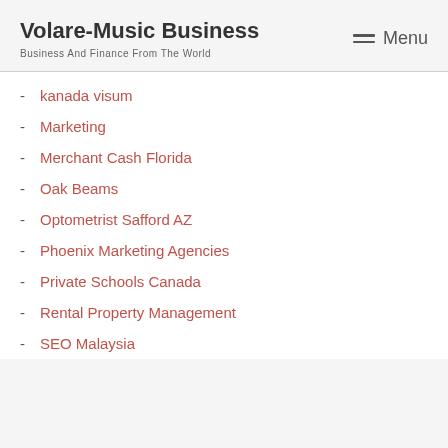Volare-Music Business
Business And Finance From The World
kanada visum
Marketing
Merchant Cash Florida
Oak Beams
Optometrist Safford AZ
Phoenix Marketing Agencies
Private Schools Canada
Rental Property Management
SEO Malaysia